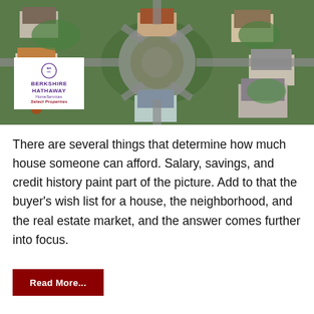[Figure (photo): Aerial drone view of a residential neighborhood showing houses with yards arranged in a circular cul-de-sac pattern, with green lawns and driveways visible from above]
[Figure (logo): Berkshire Hathaway HomeServices Select Properties logo — white box with purple circular emblem, bold purple text 'BERKSHIRE HATHAWAY HomeServices' and dark red italic 'Select Properties']
There are several things that determine how much house someone can afford. Salary, savings, and credit history paint part of the picture. Add to that the buyer's wish list for a house, the neighborhood, and the real estate market, and the answer comes further into focus.
Read More...